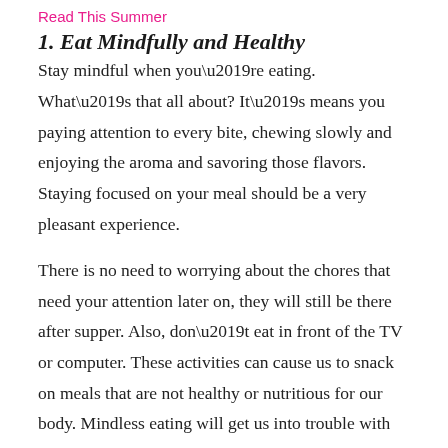Read This Summer
1. Eat Mindfully and Healthy
Stay mindful when you’re eating. What’s that all about? It’s means you paying attention to every bite, chewing slowly and enjoying the aroma and savoring those flavors. Staying focused on your meal should be a very pleasant experience.
There is no need to worrying about the chores that need your attention later on, they will still be there after supper. Also, don’t eat in front of the TV or computer. These activities can cause us to snack on meals that are not healthy or nutritious for our body. Mindless eating will get us into trouble with added